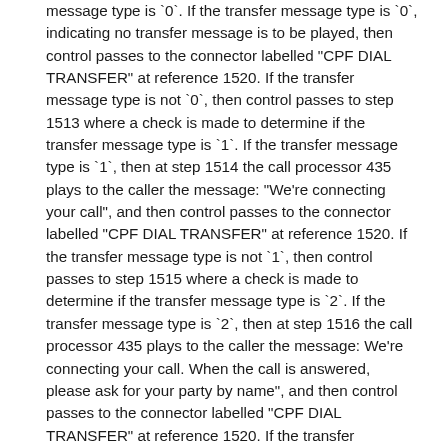message type is `0`. If the transfer message type is `0`, indicating no transfer message is to be played, then control passes to the connector labelled "CPF DIAL TRANSFER" at reference 1520. If the transfer message type is not `0`, then control passes to step 1513 where a check is made to determine if the transfer message type is `1`. If the transfer message type is `1`, then at step 1514 the call processor 435 plays to the caller the message: "We're connecting your call", and then control passes to the connector labelled "CPF DIAL TRANSFER" at reference 1520. If the transfer message type is not `1`, then control passes to step 1515 where a check is made to determine if the transfer message type is `2`. If the transfer message type is `2`, then at step 1516 the call processor 435 plays to the caller the message: We're connecting your call. When the call is answered, please ask for your party by name", and then control passes to the connector labelled "CPF DIAL TRANSFER" at reference 1520. If the transfer message type is not `2`, then control passes to step 1517 where a check is made to determine if the transfer message type is `3`. If the transfer message type is `3`, then at step 1518 the call processor 435 plays to the caller the message: "We're connecting your call. When the call is